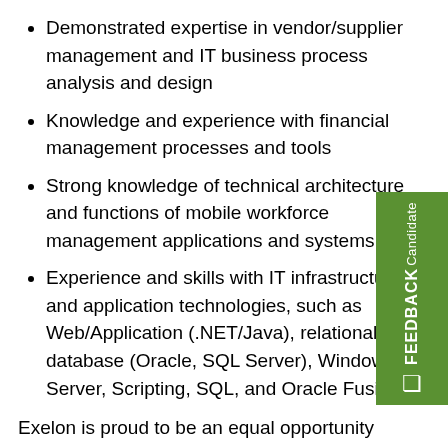Demonstrated expertise in vendor/supplier management and IT business process analysis and design
Knowledge and experience with financial management processes and tools
Strong knowledge of technical architecture and functions of mobile workforce management applications and systems
Experience and skills with IT infrastructure and application technologies, such as Web/Application (.NET/Java), relational database (Oracle, SQL Server), Windows Server, Scripting, SQL, and Oracle Fusion.
Exelon is proud to be an equal opportunity employer and employees or applicants will receive consideration for employment without regard to: age, color, disability, gender, national origin, race, religion, sexual orientation